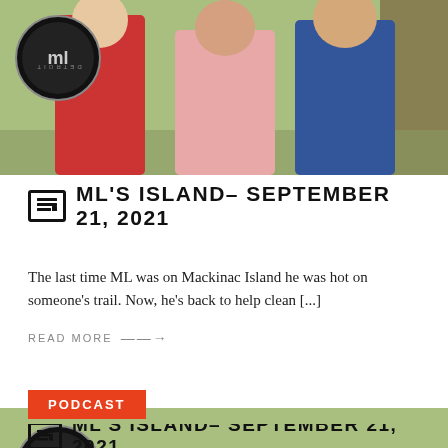[Figure (photo): Group photo of three people posed in front of a tropical/rustic background, with a circular Detroit ML logo watermark in the upper left. One person in red shirt, one woman in pink checkered dress, one man in blue polo.]
ML'S ISLAND– SEPTEMBER 21, 2021
The last time ML was on Mackinac Island he was hot on someone's trail. Now, he's back to help clean [...]
READ MORE →
PODCAST
[Figure (photo): Same group photo as above: three people in front of tropical/rustic background with Detroit ML logo watermark. Person in red long-sleeve, woman with glasses in pink checkered dress, man in blue polo.]
ML'S ISLAND– SEPTEMBER 21, 2021